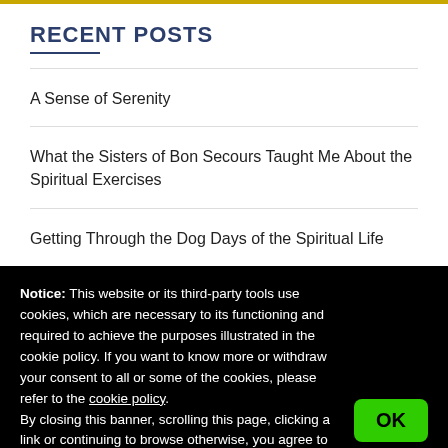RECENT POSTS
A Sense of Serenity
What the Sisters of Bon Secours Taught Me About the Spiritual Exercises
Getting Through the Dog Days of the Spiritual Life
Notice: This website or its third-party tools use cookies, which are necessary to its functioning and required to achieve the purposes illustrated in the cookie policy. If you want to know more or withdraw your consent to all or some of the cookies, please refer to the cookie policy.
By closing this banner, scrolling this page, clicking a link or continuing to browse otherwise, you agree to the use of cookies.